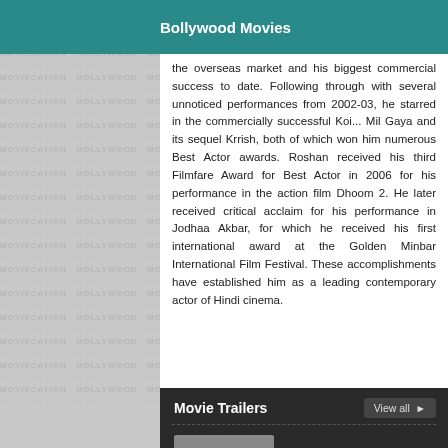Bollywood Movies
the overseas market and his biggest commercial success to date. Following through with several unnoticed performances from 2002-03, he starred in the commercially successful Koi... Mil Gaya and its sequel Krrish, both of which won him numerous Best Actor awards. Roshan received his third Filmfare Award for Best Actor in 2006 for his performance in the action film Dhoom 2. He later received critical acclaim for his performance in Jodhaa Akbar, for which he received his first international award at the Golden Minbar International Film Festival. These accomplishments have established him as a leading contemporary actor of Hindi cinema.
Movie Trailers
[Figure (screenshot): Movie trailer thumbnail placeholder with three dots icon]
Gali Guleiyan
Trailer
Added on: Aug 16, 2018